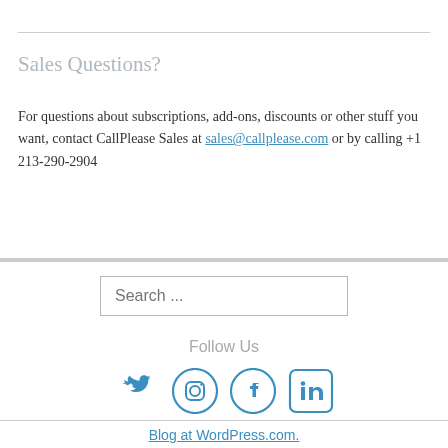Sales Questions?
For questions about subscriptions, add-ons, discounts or other stuff you want, contact CallPlease Sales at sales@callplease.com or by calling +1 213-290-2904
Search ...
Follow Us
[Figure (other): Social media icons: Twitter, Instagram, Facebook, LinkedIn]
Blog at WordPress.com.